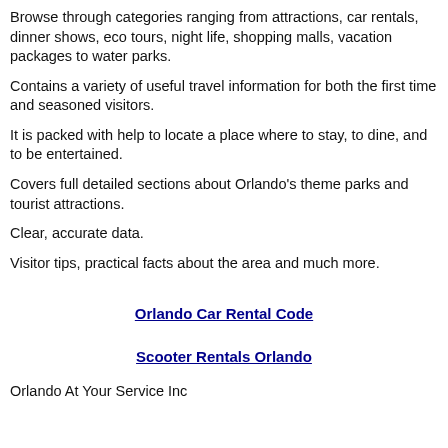Browse through categories ranging from attractions, car rentals, dinner shows, eco tours, night life, shopping malls, vacation packages to water parks.
Contains a variety of useful travel information for both the first time and seasoned visitors.
It is packed with help to locate a place where to stay, to dine, and to be entertained.
Covers full detailed sections about Orlando's theme parks and tourist attractions.
Clear, accurate data.
Visitor tips, practical facts about the area and much more.
Orlando Car Rental Code
Scooter Rentals Orlando
Orlando At Your Service Inc